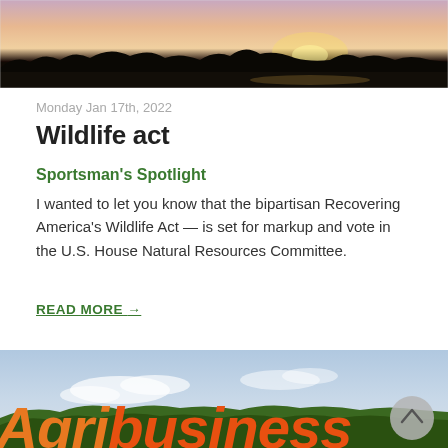[Figure (photo): Sunset landscape photo with silhouette of treeline against pink and orange sky over water]
Monday Jan 17th, 2022
Wildlife act
Sportsman's Spotlight
I wanted to let you know that the bipartisan Recovering America's Wildlife Act — is set for markup and vote in the U.S. House Natural Resources Committee.
READ MORE →
[Figure (photo): Agribusiness magazine cover photo showing blue sky with clouds and green trees, with large italic orange-red 'Agribusiness' text overlay]